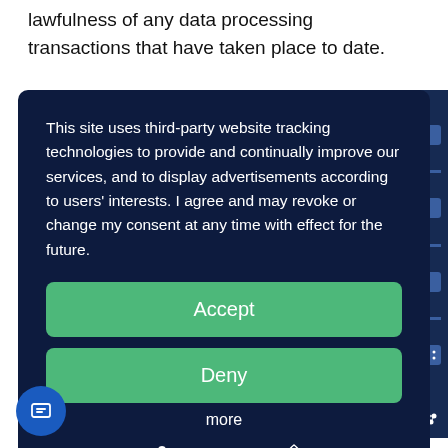lawfulness of any data processing transactions that have taken place to date.
This site uses third-party website tracking technologies to provide and continually improve our services, and to display advertisements according to users' interests. I agree and may revoke or change my consent at any time with effect for the future.
Accept
Deny
more
Powered by usercentrics & eRecht24
mailings. The data from the blacklist is used only for this purpose and not merged with other data. This